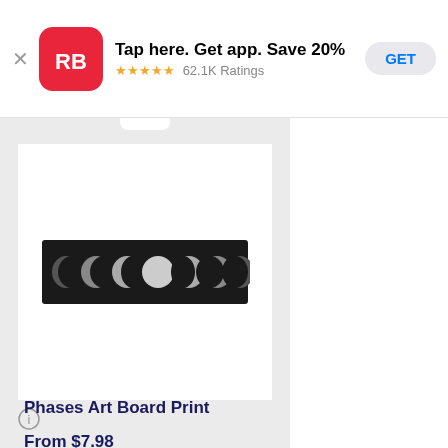[Figure (screenshot): App store ad banner with red RB (Redbubble) logo icon, text 'Tap here. Get app. Save 20%', 5 gold stars, '62.1K Ratings', and a 'GET' button]
Tap here. Get app. Save 20%
★★★★★ 62.1K Ratings
[Figure (photo): Moon phases art board print showing 7 moon phases from crescent to full and back, black and white photograph-style image on white card]
Phases Art Board Print
From $7.98
[Figure (illustration): Partial view of a geometric chain-link or molecular structure pattern in black line art on white background]